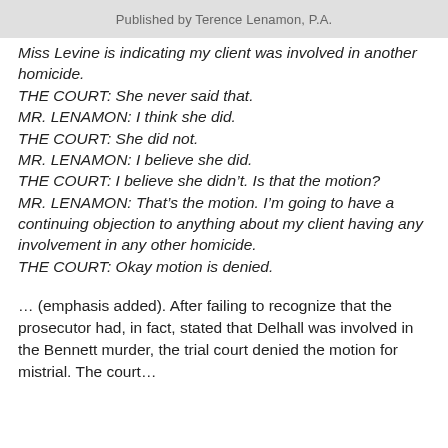Published by Terence Lenamon, P.A.
Miss Levine is indicating my client was involved in another homicide.
THE COURT: She never said that.
MR. LENAMON: I think she did.
THE COURT: She did not.
MR. LENAMON: I believe she did.
THE COURT: I believe she didn't. Is that the motion?
MR. LENAMON: That's the motion. I'm going to have a continuing objection to anything about my client having any involvement in any other homicide.
THE COURT: Okay motion is denied.
… (emphasis added). After failing to recognize that the prosecutor had, in fact, stated that Delhall was involved in the Bennett murder, the trial court denied the motion for mistrial. The court...